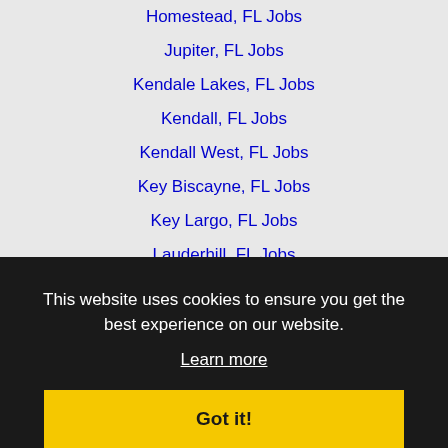Homestead, FL Jobs
Jupiter, FL Jobs
Kendale Lakes, FL Jobs
Kendall, FL Jobs
Kendall West, FL Jobs
Key Biscayne, FL Jobs
Key Largo, FL Jobs
Lauderhill, FL Jobs
Margate, FL Jobs
Miami, FL Jobs
Miami Beach, FL Jobs
Miami Gardens, FL Jobs
Miami Lakes, FL Jobs
Miramar, FL Jobs
North Lauderdale, FL Jobs
Opa-locka, FL Jobs
Oakland Park, FL Jobs
Palm Beach, FL Jobs
This website uses cookies to ensure you get the best experience on our website.
Learn more
Got it!